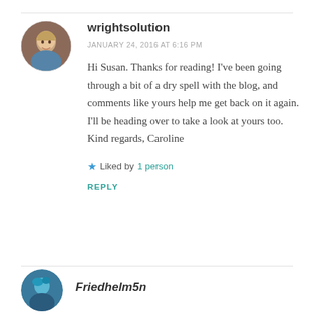wrightsolution
JANUARY 24, 2016 AT 6:16 PM
Hi Susan. Thanks for reading! I’ve been going through a bit of a dry spell with the blog, and comments like yours help me get back on it again. I’ll be heading over to take a look at yours too. Kind regards, Caroline
★ Liked by 1 person
REPLY
Friedhelm5n